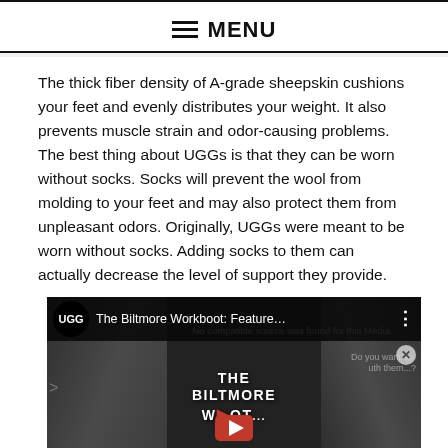≡ MENU
The thick fiber density of A-grade sheepskin cushions your feet and evenly distributes your weight. It also prevents muscle strain and odor-causing problems. The best thing about UGGs is that they can be worn without socks. Socks will prevent the wool from molding to your feet and may also protect them from unpleasant odors. Originally, UGGs were meant to be worn without socks. Adding socks to them can actually decrease the level of support they provide.
[Figure (screenshot): UGG brand video player showing 'The Biltmore Workboot: Feature...' with error message 'No compatible source was found for this Media.' overlaid on a dark image of boots with THE BILTMORE WORKBOOT text and YouTube play button.]